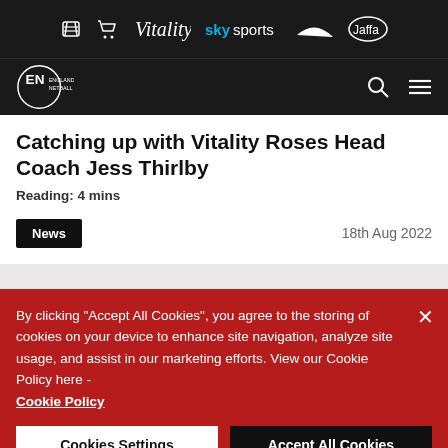Sponsor bar: ticket icon, cart icon, Vitality, sky sports, Nike swoosh, Jaffa
England Netball navigation bar with logo, search icon, menu icon
Catching up with Vitality Roses Head Coach Jess Thirlby
Reading: 4 mins
News  18th Aug 2022
By clicking "Accept All Cookies", you agree to the storing of cookies on your device to enhance site navigation, analyze site usage, and assist in our marketing efforts. View our Cookie Policy here - Cookie Policy
Cookies Settings  Accept All Cookies